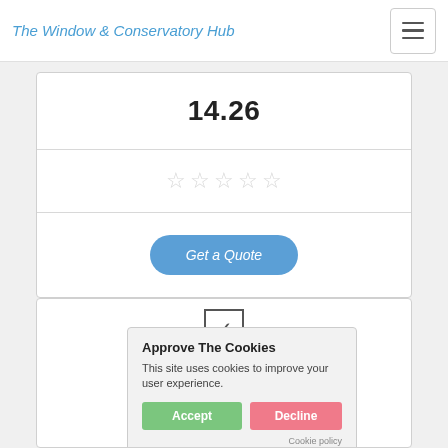The Window & Conservatory Hub
14.26
[Figure (other): Five empty star rating icons (grey outline stars)]
Get a Quote
[Figure (logo): DG Solutions - Amazing Double Glazing logo with house graphic and green tree]
Approve The Cookies
This site uses cookies to improve your user experience.
Accept  Decline
Cookie policy